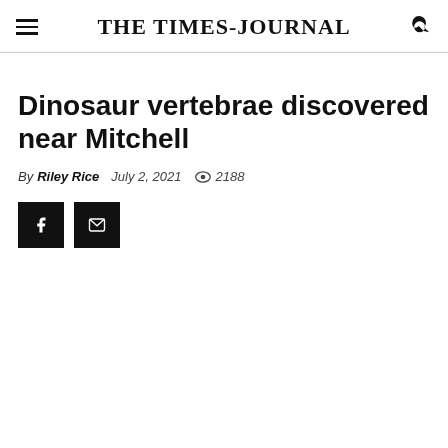THE TIMES-JOURNAL
Dinosaur vertebrae discovered near Mitchell
By Riley Rice   July 2, 2021   2188
[Figure (other): Social share buttons: Facebook and Email]